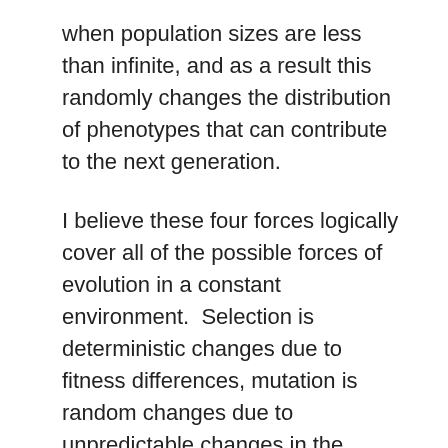when population sizes are less than infinite, and as a result this randomly changes the distribution of phenotypes that can contribute to the next generation.
I believe these four forces logically cover all of the possible forces of evolution in a constant environment.  Selection is deterministic changes due to fitness differences, mutation is random changes due to unpredictable changes in the patterning node of individuals, migration is adding or removing individuals from the population, and drift is random changes due to sampling in a finite population.
Now the thing that has disturbed me:  I have